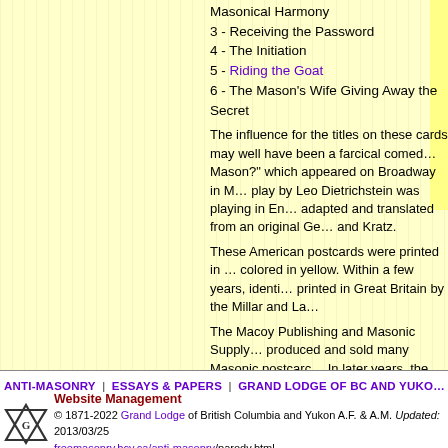3 - Receiving the Password
4 - The Initiation
5 - Riding the Goat
6 - The Mason's Wife Giving Away the Secret
The influence for the titles on these cards may well have been a farcical comedy "Are You A Mason?" which appeared on Broadway in New York. A play by Leo Dietrichstein was playing in England, and was adapted and translated from an original German work by Kratz.
These American postcards were printed in Germany and colored in yellow. Within a few years, identical cards were printed in Great Britain by the Millar and Lang Company.
The Macoy Publishing and Masonic Supply Company produced and sold many Masonic postcards in New York. In later years, the Curt Teich Company of Chicago sold postcards of Masonic Temples. Today, thousands of the company archives at the Lake County Museum.
Text of "Are You A Mason?" excerpted from the Short Talk Bulletin of John Hancock Lodge, A.F; & A.M. of Methuen, Massachusetts and are supplied without provenance or citation.
ANTI-MASONRY | ESSAYS & PAPERS | GRAND LODGE OF BC AND YUKON
Website Management
© 1871-2022 Grand Lodge of British Columbia and Yukon A.F. & A.M. Updated: 2013/03/25
freemasonry.bcy.ca/anti-masonry/parody.html